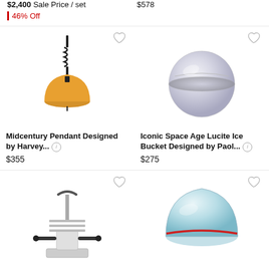$2,400 Sale Price / set
46% Off
$578
[Figure (photo): Midcentury pendant lamp with orange dome shade and black coiled cord]
Midcentury Pendant Designed by Harvey...
$355
[Figure (photo): Iconic Space Age Lucite ice bucket, spherical transparent plastic design]
Iconic Space Age Lucite Ice Bucket Designed by Paol...
$275
[Figure (photo): Chrome and black modernist espresso machine or bar set]
[Figure (photo): Light blue glass dome paperweight or bowl with red stripe]